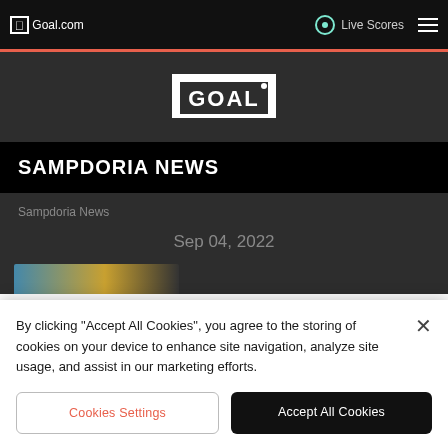Goal.com | Live Scores
[Figure (logo): Goal.com soccer goal logo in white on dark background]
SAMPDORIA NEWS
Sampdoria News
Sep 04, 2022
[Figure (photo): Partial image of a person, cropped at bottom of visible area]
By clicking "Accept All Cookies", you agree to the storing of cookies on your device to enhance site navigation, analyze site usage, and assist in our marketing efforts.
Cookies Settings
Accept All Cookies